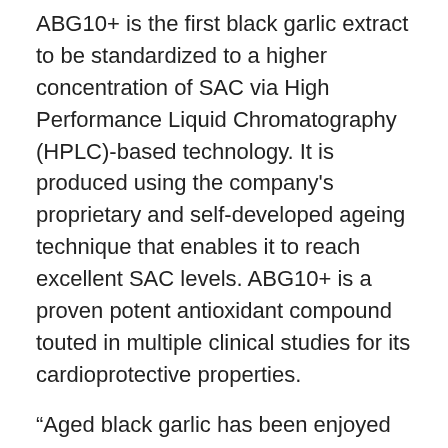ABG10+ is the first black garlic extract to be standardized to a higher concentration of SAC via High Performance Liquid Chromatography (HPLC)-based technology. It is produced using the company's proprietary and self-developed ageing technique that enables it to reach excellent SAC levels. ABG10+ is a proven potent antioxidant compound touted in multiple clinical studies for its cardioprotective properties.
“Aged black garlic has been enjoyed for centuries as a culinary delicacy,” says Alberto Espinel, head of R&D for Pharmactive. “Today, the extract is being increasingly appreciated for its functional qualities and its role in helping maintain healthy heart function. Our studies endorse ABG10+ as a safe and natural ingredient that can promote cardiovascular health via its ability to balance lipid profiles and enhance vascular and cardiac function.”
The encouraging results follow a previous 2016 animal study that demonstrated the ABG10+ formulation’s ability